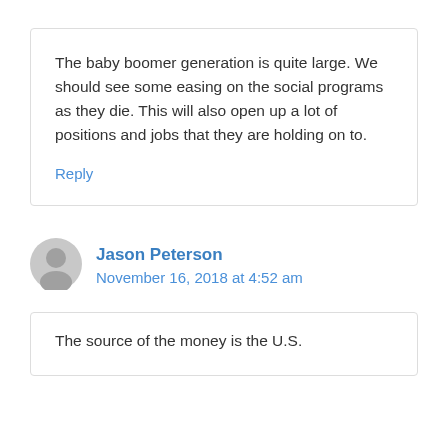The baby boomer generation is quite large. We should see some easing on the social programs as they die. This will also open up a lot of positions and jobs that they are holding on to.
Reply
Jason Peterson
November 16, 2018 at 4:52 am
The source of the money is the U.S.